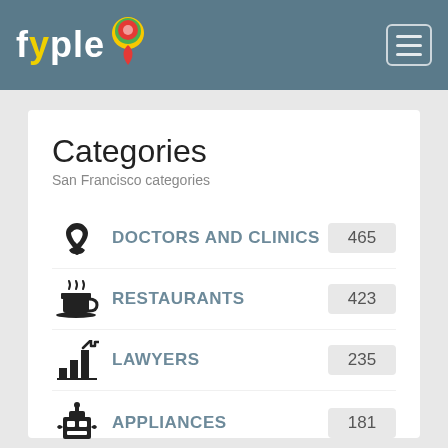fyple — navigation header with logo and hamburger menu
Categories
San Francisco categories
DOCTORS AND CLINICS — 465
RESTAURANTS — 423
LAWYERS — 235
APPLIANCES — 181